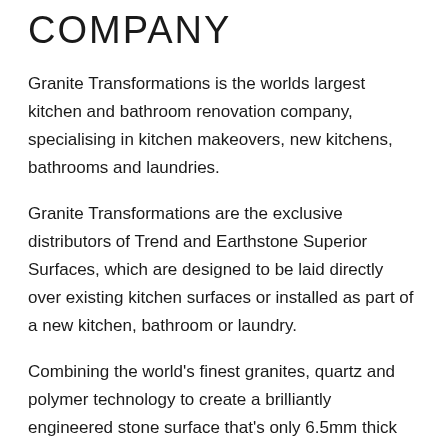COMPANY
Granite Transformations is the worlds largest kitchen and bathroom renovation company, specialising in kitchen makeovers, new kitchens, bathrooms and laundries.
Granite Transformations are the exclusive distributors of Trend and Earthstone Superior Surfaces, which are designed to be laid directly over existing kitchen surfaces or installed as part of a new kitchen, bathroom or laundry.
Combining the world's finest granites, quartz and polymer technology to create a brilliantly engineered stone surface that's only 6.5mm thick and is ideal for a range of applications including